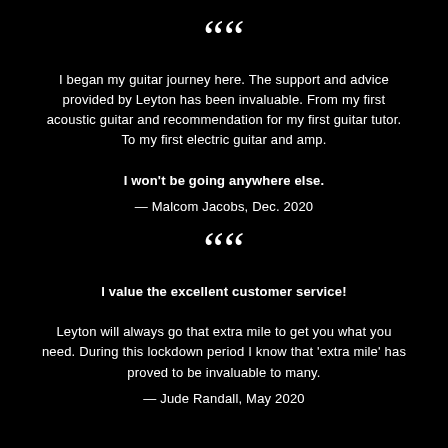““
I began my guitar journey here. The support and advice provided by Leyton has been invaluable. From my first acoustic guitar and recommendation for my first guitar tutor. To my first electric guitar and amp.
I won't be going anywhere else.
— Malcom Jacobs, Dec. 2020
““
I value the excellent customer service!
Leyton will always go that extra mile to get you what you need. During this lockdown period I know that 'extra mile' has proved to be invaluable to many.
— Jude Randall, May 2020